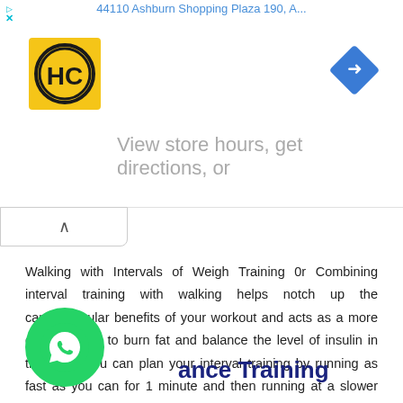44110 Ashburn Shopping Plaza 190, A...
[Figure (logo): HC logo - yellow square with HC text in black circle, and a blue diamond navigation icon on the right]
View store hours, get directions, or
Walking with Intervals of Weigh Training 0r Combining interval training with walking helps notch up the cardiovascular benefits of your workout and acts as a more effective way to burn fat and balance the level of insulin in the body. You can plan your interval training by running as fast as you can for 1 minute and then running at a slower pace for 2 minutes and repeating the same interval 6 times.
ance Training
[Figure (logo): WhatsApp green circular button with phone icon]